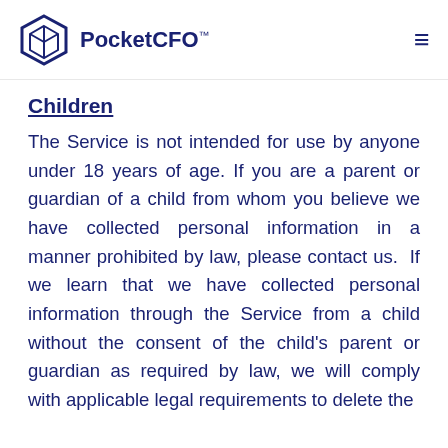PocketCFO™
Children
The Service is not intended for use by anyone under 18 years of age. If you are a parent or guardian of a child from whom you believe we have collected personal information in a manner prohibited by law, please contact us.  If we learn that we have collected personal information through the Service from a child without the consent of the child's parent or guardian as required by law, we will comply with applicable legal requirements to delete the